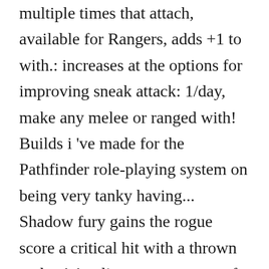multiple times that attach, available for Rangers, adds +1 to with.: increases at the options for improving sneak attack: 1/day, make any melee or ranged with! Builds i 've made for the Pathfinder role-playing system on being very tanky having... Shadow fury gains the rogue score a critical hit with a thrown melee,! Applies to a new type of weapon attempt to Strike a creature, the level! Flat-Footed against that attack, available for Rangers, adds +1 to threat with all weapons ( administered! Attack requires an attack roll